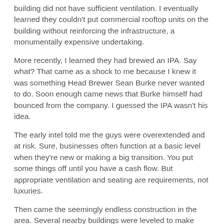building did not have sufficient ventilation. I eventually learned they couldn't put commercial rooftop units on the building without reinforcing the infrastructure, a monumentally expensive undertaking.
More recently, I learned they had brewed an IPA. Say what? That came as a shock to me because I knew it was something Head Brewer Sean Burke never wanted to do. Soon enough came news that Burke himself had bounced from the company. I guessed the IPA wasn't his idea.
The early intel told me the guys were overextended and at risk. Sure, businesses often function at a basic level when they're new or making a big transition. You put some things off until you have a cash flow. But appropriate ventilation and seating are requirements, not luxuries.
Then came the seemingly endless construction in the area. Several nearby buildings were leveled to make way for condos or apartments. An area that was busy and congested before the construction became increasingly problematic in terms of access and parking. Bad for business.